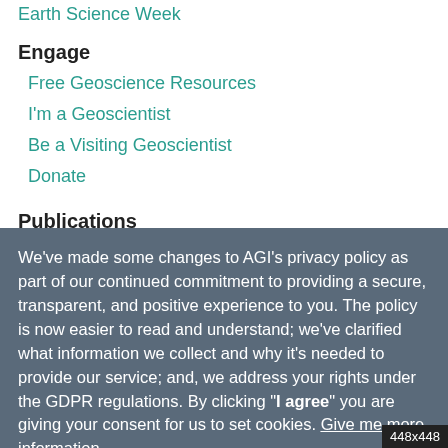Earth Science Week
Engage
Free Geoscience Resources
I'm a Geoscientist
Be a Visiting Geoscientist
Donate
Publications
Glossary of Geology
We've made some changes to AGI's privacy policy as part of our continued commitment to providing a secure, transparent, and positive experience to you. The policy is now easier to read and understand; we've clarified what information we collect and why it's needed to provide our service; and, we address your rights under the GDPR regulations. By clicking "I agree" you are giving your consent for us to set cookies. Give me more information
I agree | Opt out